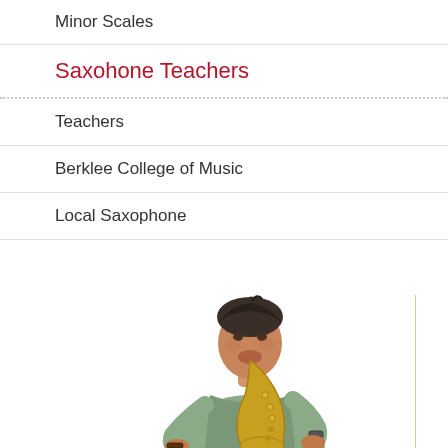Minor Scales
Saxohone Teachers
Teachers
Berklee College of Music
Local Saxophone
[Figure (photo): A man playing a saxophone, wearing a grey short-sleeved shirt and a watch, photographed against a white background]